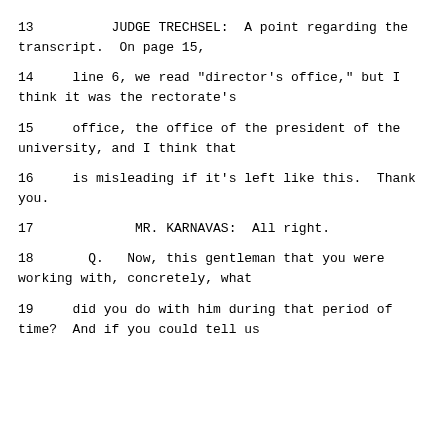13          JUDGE TRECHSEL:  A point regarding the transcript.  On page 15,
14     line 6, we read "director's office," but I think it was the rectorate's
15     office, the office of the president of the university, and I think that
16     is misleading if it's left like this.  Thank you.
17             MR. KARNAVAS:  All right.
18       Q.   Now, this gentleman that you were working with, concretely, what
19     did you do with him during that period of time?  And if you could tell us